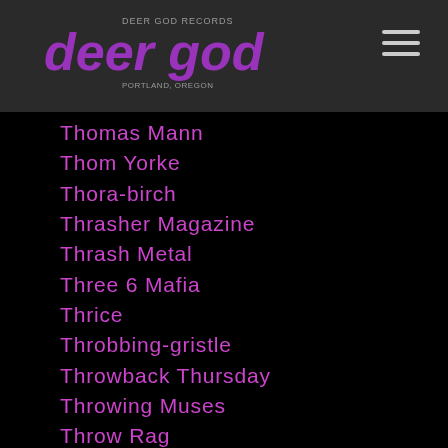deer god
Thomas Mann
Thom Yorke
Thora-birch
Thrasher Magazine
Thrash Metal
Three 6 Mafia
Thrice
Throbbing-gristle
Throwback Thursday
Throwing Muses
Throw Rag
Thugnificent
Thundercat
Thursday
Thurston Moore
Thurston-moore
Thyartismurder